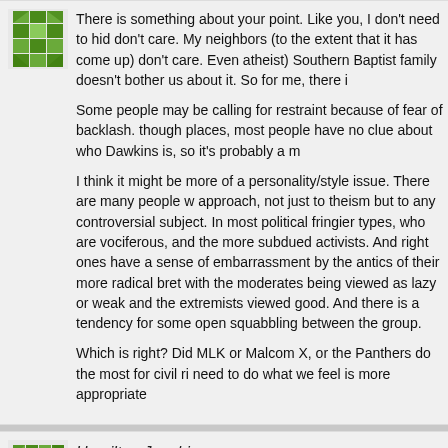[Figure (illustration): Green geometric avatar icon for first commenter]
There is something about your point. Like you, I don't need to hid don't care. My neighbors (to the extent that it has come up) don't care. Even atheist) Southern Baptist family doesn't bother us about it. So for me, there i

Some people may be calling for restraint because of fear of backlash. though places, most people have no clue about who Dawkins is, so it's probably a m

I think it might be more of a personality/style issue. There are many people w approach, not just to theism but to any controversial subject. In most political fringier types, who are vociferous, and the more subdued activists. And right ones have a sense of embarrassment by the antics of their more radical bret with the moderates being viewed as lazy or weak and the extremists viewed good. And there is a tendency for some open squabbling between the group.

Which is right? Did MLK or Malcom X, or the Panthers do the most for civil ri need to do what we feel is more appropriate
[Figure (illustration): Green geometric avatar icon for Hamilton Jacobi]
Hamilton Jacobi
September 27, 2010 at 6:57 pm
Even if it is a mere disagreement about truth claims, one side adv reasoned examination of evidence, while the other side fights tooth and nail evidence as criteria for settling disputes. (At least, that is, when they want to